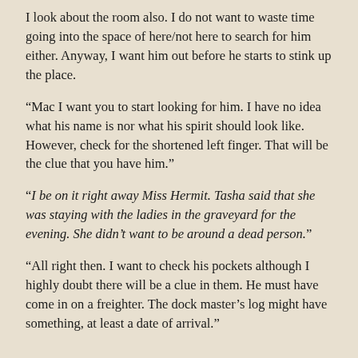I look about the room also. I do not want to waste time going into the space of here/not here to search for him either. Anyway, I want him out before he starts to stink up the place.
“Mac I want you to start looking for him. I have no idea what his name is nor what his spirit should look like. However, check for the shortened left finger. That will be the clue that you have him.”
“I be on it right away Miss Hermit. Tasha said that she was staying with the ladies in the graveyard for the evening. She didn’t want to be around a dead person.”
“All right then. I want to check his pockets although I highly doubt there will be a clue in them. He must have come in on a freighter. The dock master’s log might have something, at least a date of arrival.”